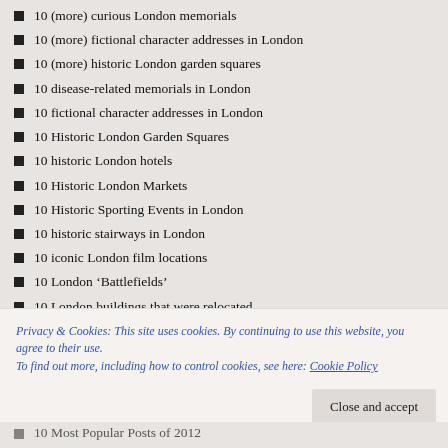10 (more) curious London memorials
10 (more) fictional character addresses in London
10 (more) historic London garden squares
10 disease-related memorials in London
10 fictional character addresses in London
10 Historic London Garden Squares
10 historic London hotels
10 Historic London Markets
10 Historic Sporting Events in London
10 historic stairways in London
10 iconic London film locations
10 London 'Battlefields'
10 London buildings that were relocated
10 London hills
Privacy & Cookies: This site uses cookies. By continuing to use this website, you agree to their use.
To find out more, including how to control cookies, see here: Cookie Policy
10 Most Popular Posts of 2012